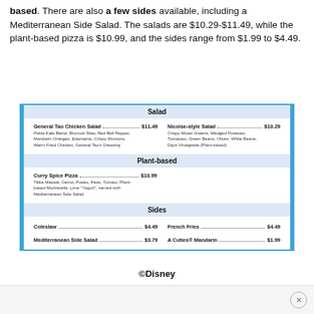based. There are also a few sides available, including a Mediterranean Side Salad. The salads are $10.29-$11.49, while the plant-based pizza is $10.99, and the sides range from $1.99 to $4.49.
| Salad | Price | Item | Price |
| --- | --- | --- | --- |
| General Tao Chicken Salad | $11.49 | Nicoise-style Salad | $10.29 |
| Petite Kale Blend, Broccoli Slaw, Red Bell Pepper, Mandarin Oranges, Edamame, Crispy Wontons, Warm Fried Chicken, General Tao's Dressing |  | Crispy Mixed Greens, Wedged Potatoes, Tomatoes, Green Beans, Olives, White Beans, Dijon Vinaigrette (Plant-based) |  |
| Plant-based |  |  |  |
| Curry Spice Pizza | $10.99 |  |  |
| Tikka Masala, Carrot, Potato, Peas, Tomato, Plant-based Mozzarella, Lime "Yogurt", served with Mediterranean Side Salad |  |  |  |
| Sides |  |  |  |
| Coleslaw | $4.49 | French Fries | $4.49 |
| Mediterranean Side Salad | $3.79 | A Cuties® Mandarin | $1.99 |
©Disney